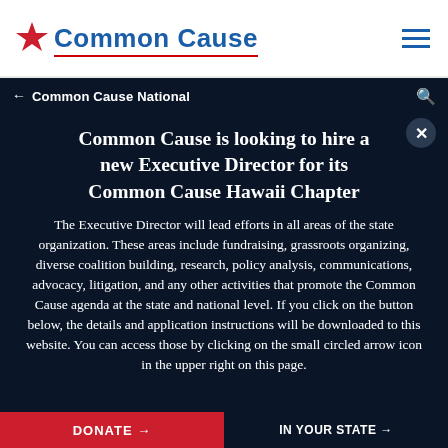Common Cause
← Common Cause National
Common Cause is looking to hire a new Executive Director for its Common Cause Hawaii Chapter
The Executive Director will lead efforts in all areas of the state organization. These areas include fundraising, grassroots organizing, diverse coalition building, research, policy analysis, communications, advocacy, litigation, and any other activities that promote the Common Cause agenda at the state and national level. If you click on the button below, the details and application instructions will be downloaded to this website. You can access those by clicking on the small circled arrow icon in the upper right on this page.
DONATE →   IN YOUR STATE →